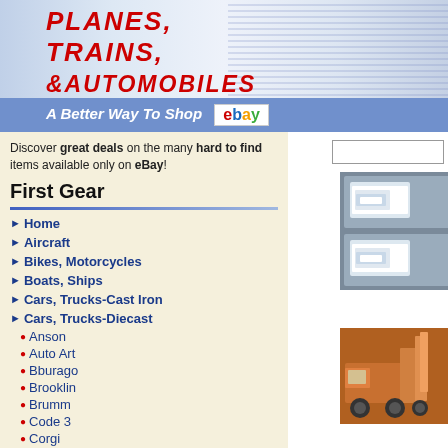Planes, Trains, & Automobiles
The source for toy vehicles!
A Better Way To Shop eBay
Discover great deals on the many hard to find items available only on eBay!
First Gear
Home
Aircraft
Bikes, Motorcycles
Boats, Ships
Cars, Trucks-Cast Iron
Cars, Trucks-Diecast
Anson
Auto Art
Bburago
Brooklin
Brumm
Code 3
Corgi
Danbury Mint
Dinky
Ertl
Exoto
First Gear
Modern (1970-Now)
[Figure (photo): Two boxed 1/50 scale Volvo white cab-over truck models in display packaging]
First Gear 50... Mib! 1/50 Wh... 300 Day Cab... $155.00
[Figure (photo): Orange truck with aerial lift bucket orange equipment model]
First Gear Int... High Perform... Dot $124.99
First Gear 1/5...